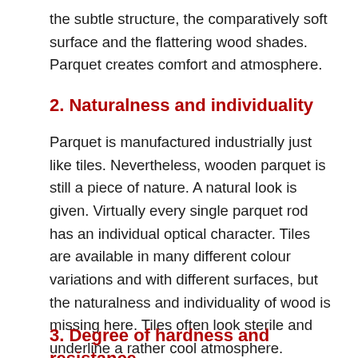the subtle structure, the comparatively soft surface and the flattering wood shades. Parquet creates comfort and atmosphere.
2. Naturalness and individuality
Parquet is manufactured industrially just like tiles. Nevertheless, wooden parquet is still a piece of nature. A natural look is given. Virtually every single parquet rod has an individual optical character. Tiles are available in many different colour variations and with different surfaces, but the naturalness and individuality of wood is missing here. Tiles often look sterile and underline a rather cool atmosphere.
3. Degree of hardness and resistance